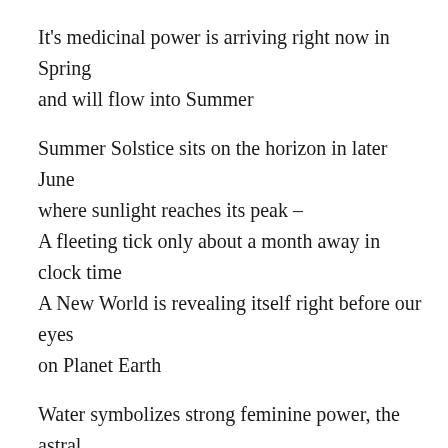It's medicinal power is arriving right now in Spring and will flow into Summer
Summer Solstice sits on the horizon in later June where sunlight reaches its peak –
A fleeting tick only about a month away in clock time
A New World is revealing itself right before our eyes on Planet Earth
Water symbolizes strong feminine power, the astral plane and emotional states
May we drink in the waters of Life
So that we Nurture our Nature